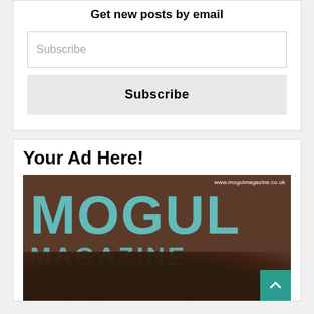Get new posts by email
Subscribe
Subscribe
Your Ad Here!
[Figure (photo): Mogul Magazine cover image showing large teal MOGUL MAGAZINE text over a dark-haired person, with website url www.mogulmagazine.co.uk and a teal back-to-top arrow button in the bottom right corner.]